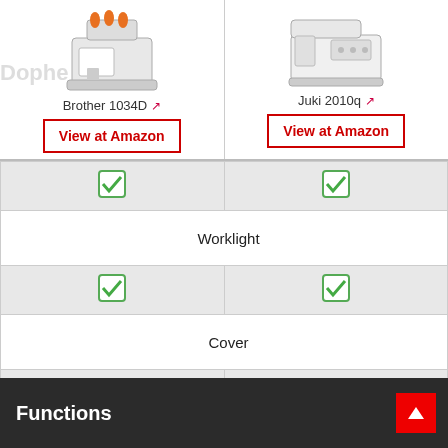[Figure (photo): Brother 1034D serger sewing machine with orange thread spools]
Brother 1034D ↗
View at Amazon
[Figure (photo): Juki 2010q sewing machine, white/grey]
Juki 2010q ↗
View at Amazon
| Brother 1034D | Juki 2010q |
| --- | --- |
| ✓ | ✓ |
| Worklight |  |
| ✓ | ✓ |
| Cover |  |
| soft cover | 🔍 |
Functions